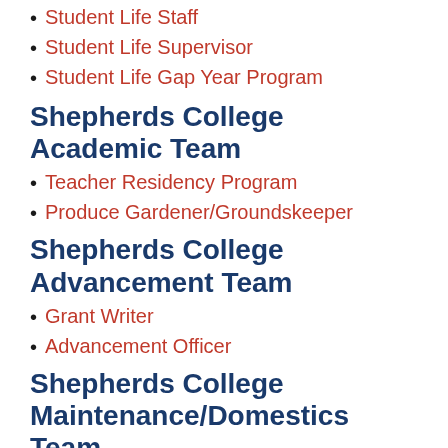Student Life Staff
Student Life Supervisor
Student Life Gap Year Program
Shepherds College Academic Team
Teacher Residency Program
Produce Gardener/Groundskeeper
Shepherds College Advancement Team
Grant Writer
Advancement Officer
Shepherds College Maintenance/Domestics Team